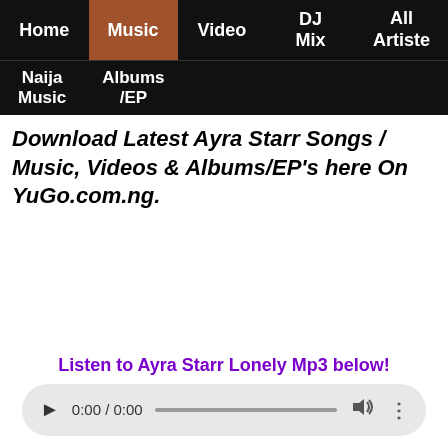Home | Music | Video | DJ Mix | All Artiste | Naija Music | Albums/EP
Download Latest Ayra Starr Songs / Music, Videos & Albums/EP's here On YuGo.com.ng.
Listen to Ayra Starr Lonely Mp3 below!
[Figure (other): Audio player widget showing 0:00 / 0:00 with play button, progress bar, volume icon, and more options icon]
DOWNLOAD Ayra Starr - Lonely MP3